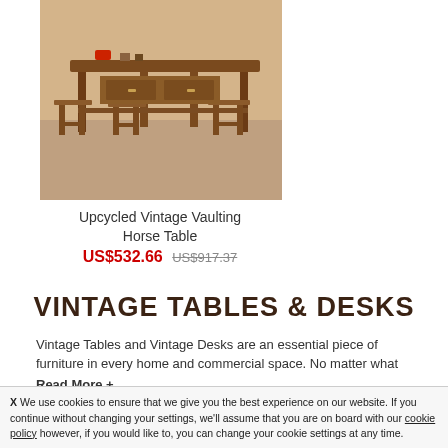[Figure (photo): Photo of an upcycled vintage vaulting horse table with wooden bar stools, rustic brown wood finish]
Upcycled Vintage Vaulting Horse Table
US$532.66  US$917.37
VINTAGE TABLES & DESKS
Vintage Tables and Vintage Desks are an essential piece of furniture in every home and commercial space. No matter what
Read More +
We use cookies to ensure that we give you the best experience on our website. If you continue without changing your settings, we'll assume that you are on board with our cookie policy however, if you would like to, you can change your cookie settings at any time.